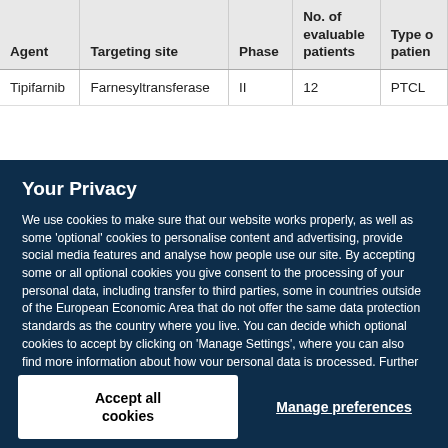| Agent | Targeting site | Phase | No. of evaluable patients | Type of patien |
| --- | --- | --- | --- | --- |
| Tipifarnib | Farnesyltransferase | II | 12 | PTCL |
Your Privacy
We use cookies to make sure that our website works properly, as well as some 'optional' cookies to personalise content and advertising, provide social media features and analyse how people use our site. By accepting some or all optional cookies you give consent to the processing of your personal data, including transfer to third parties, some in countries outside of the European Economic Area that do not offer the same data protection standards as the country where you live. You can decide which optional cookies to accept by clicking on 'Manage Settings', where you can also find more information about how your personal data is processed. Further information can be found in our privacy policy.
Accept all cookies
Manage preferences